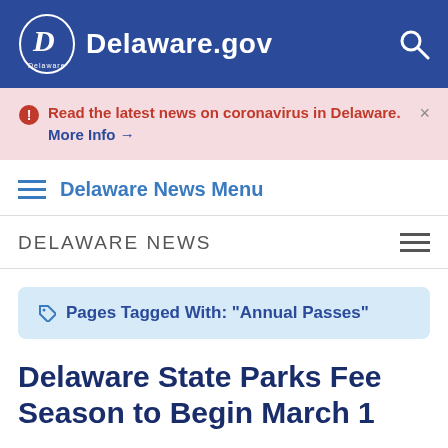Delaware.gov
Read the latest news on coronavirus in Delaware. More Info →
Delaware News Menu
DELAWARE NEWS
Pages Tagged With: "Annual Passes"
Delaware State Parks Fee Season to Begin March 1